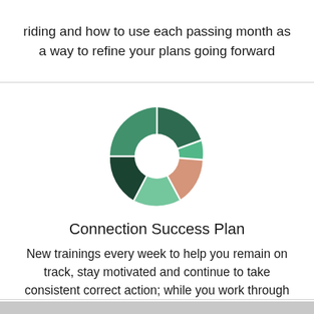riding and how to use each passing month as a way to refine your plans going forward
[Figure (donut-chart): A donut/pie chart with segments in dark green, medium green, light green, and salmon/pink colors arranged in a circle with a white center hole, representing the 5 essentials or connection success plan components.]
Connection Success Plan
New trainings every week to help you remain on track, stay motivated and continue to take consistent correct action; while you work through the 5 essentials.